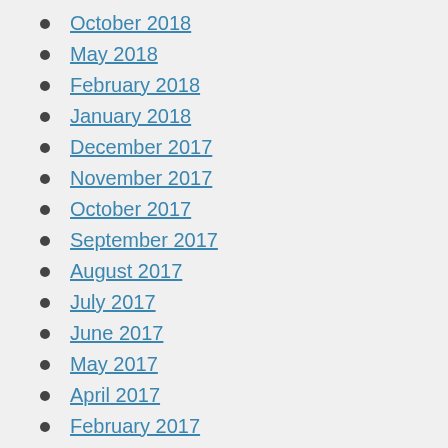October 2018
May 2018
February 2018
January 2018
December 2017
November 2017
October 2017
September 2017
August 2017
July 2017
June 2017
May 2017
April 2017
February 2017
January 2017
December 2016
November 2016